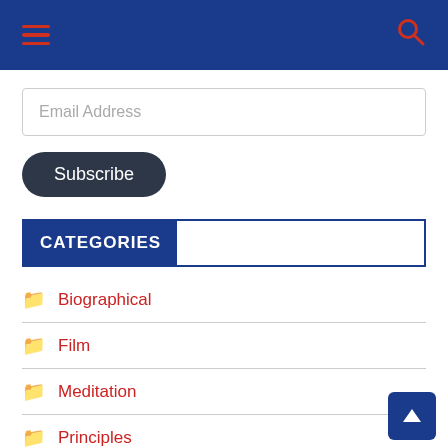Navigation bar with hamburger menu and search icon
Email Address
Subscribe
CATEGORIES
Biographical
Film
Meditation
Principles
Psychology
Science